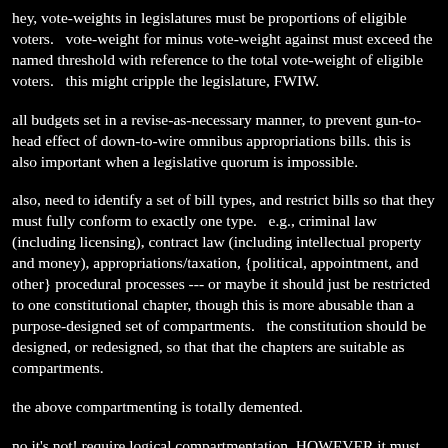hey, vote-weights in legislatures must be proportions of eligible voters.   vote-weight for minus vote-weight against must exceed the named threshold with reference to the total vote-weight of eligible voters.   this might cripple the legislature, FWIW.
all budgets set in a revise-as-necessary manner, to prevent gun-to-head effect of down-to-wire omnibus appropriations bills. this is also important when a legislative quorum is impossible.
also, need to identify a set of bill types, and restrict bills so that they must fully conform to exactly one type.   e.g., criminal law (including licensing), contract law (including intellectual property and money), appropriations/taxation, {political, appointment, and other} procedural processes --- or maybe it should just be restricted to one constitutional chapter, though this is more abusable than a purpose-designed set of compartments.   the constitution should be designed, or redesigned, so that that the chapters are suitable as compartments.
the above compartmenting is totally demented.
no it's not! require logical compartmentation, HOWEVER it must be possible for bills to be attached to each other and related to each other with Boolean logic, so that for example a vote cannot be cast in support of bill 2 unless a vote is also cast in support of bill 1. the